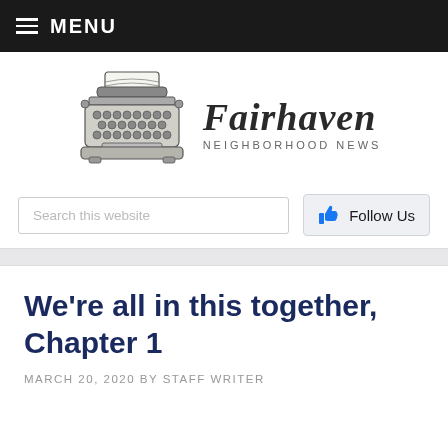MENU
[Figure (logo): Fairhaven Neighborhood News logo with a vintage typewriter illustration and blackletter 'Fairhaven' title text]
Search this website
Follow Us
We're all in this together, Chapter 1
MARCH 20, 2020 BY STAFF WRITER